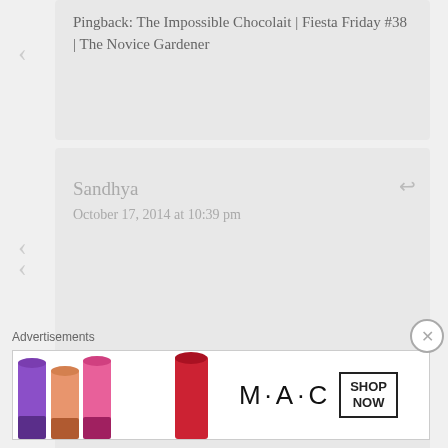Pingback: The Impossible Chocolait | Fiesta Friday #38 | The Novice Gardener
Anjana @ At The Corner Of Happy & Harried
October 17, 2014 at 10:27 pm
A traditional favorite. Your ladoos look divine!
Loading...
Sandhya
October 17, 2014 at 10:39 pm
Advertisements
[Figure (photo): MAC cosmetics advertisement showing colorful lipsticks with MAC logo and SHOP NOW box]